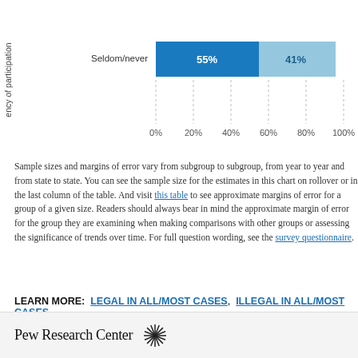[Figure (bar-chart): Frequency of participation]
Sample sizes and margins of error vary from subgroup to subgroup, from year to year and from state to state. You can see the sample size for the estimates in this chart on rollover or in the last column of the table. And visit this table to see approximate margins of error for a group of a given size. Readers should always bear in mind the approximate margin of error for the group they are examining when making comparisons with other groups or assessing the significance of trends over time. For full question wording, see the survey questionnaire.
LEARN MORE: LEGAL IN ALL/MOST CASES, ILLEGAL IN ALL/MOST CASES
Pew Research Center